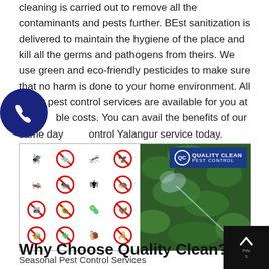cleaning is carried out to remove all the contaminants and pests further. BEst sanitization is delivered to maintain the hygiene of the place and kill all the germs and pathogens from theirs. We use green and eco-friendly pesticides to make sure that no harm is done to your home environment. All of our pest control services are available for you at affordable costs. You can avail the benefits of our same day Pest Control Yalangur service today.
[Figure (photo): Left half: grid of pest control icons (bugs with red no-entry circles). Right half: person spraying green hedge with Quality Clean Pest Control logo badge.]
Seasonal Pest Control Services
Why Choose Quality Clean?